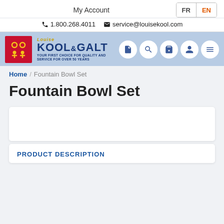My Account   FR   EN
☎ 1.800.268.4011  ✉ service@louisekool.com
[Figure (logo): Louise Kool & Galt logo with red icon box and blue text, tagline: YOUR FIRST CHOICE FOR QUALITY AND SERVICE FOR OVER 50 YEARS. Navigation icons: document, search, cart, user, menu.]
Home / Fountain Bowl Set
Fountain Bowl Set
[Figure (other): Empty white card box area (product image placeholder)]
PRODUCT DESCRIPTION